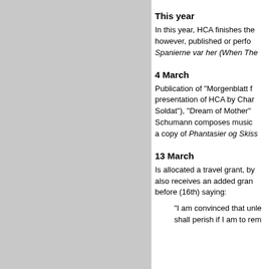[Figure (other): Gray rectangular panel on the left side of the page]
This year
In this year, HCA finishes the however, published or perfo Spanierne var her (When The
4 March
Publication of "Morgenblatt f presentation of HCA by Char Soldat"), "Dream of Mother" Schumann composes music a copy of Phantasier og Skiss
13 March
Is allocated a travel grant, by also receives an added gran before (16th) saying:
"I am convinced that unle shall perish if I am to rem